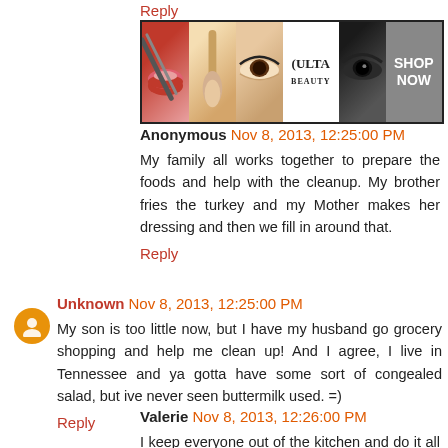Reply
[Figure (photo): Ulta Beauty advertisement banner showing makeup images: lips with lipstick, makeup brush, eye with eyebrow, Ulta Beauty logo, smoky eye, and SHOP NOW text]
Anonymous  Nov 8, 2013, 12:25:00 PM
My family all works together to prepare the foods and help with the cleanup. My brother fries the turkey and my Mother makes her dressing and then we fill in around that.
Reply
Unknown  Nov 8, 2013, 12:25:00 PM
My son is too little now, but I have my husband go grocery shopping and help me clean up! And I agree, I live in Tennessee and ya gotta have some sort of congealed salad, but ive never seen buttermilk used. =)
Reply
Valerie  Nov 8, 2013, 12:26:00 PM
I keep everyone out of the kitchen and do it all myself. Of course,